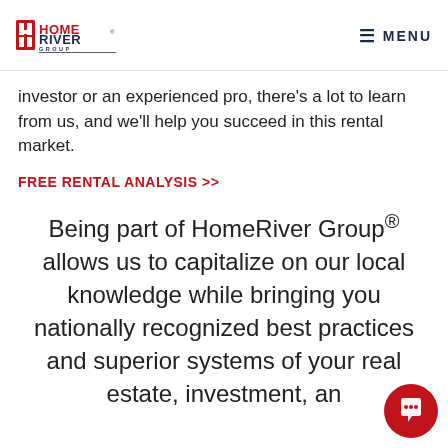HomeRiver Group — MENU
investor or an experienced pro, there's a lot to learn from us, and we'll help you succeed in this rental market.
FREE RENTAL ANALYSIS >>
Being part of HomeRiver Group® allows us to capitalize on our local knowledge while bringing you nationally recognized best practices and superior systems of your real estate, investment, an...